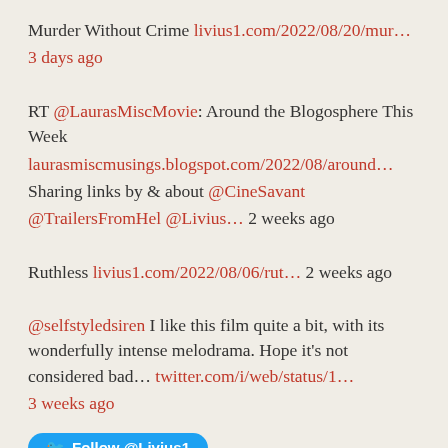Murder Without Crime livius1.com/2022/08/20/mur… 3 days ago
RT @LaurasMiscMovie: Around the Blogosphere This Week laurasmiscmusings.blogspot.com/2022/08/around… Sharing links by & about @CineSavant @TrailersFromHel @Livius… 2 weeks ago
Ruthless livius1.com/2022/08/06/rut… 2 weeks ago
@selfstyledsiren I like this film quite a bit, with its wonderfully intense melodrama. Hope it's not considered bad… twitter.com/i/web/status/1… 3 weeks ago
Follow @Livius1